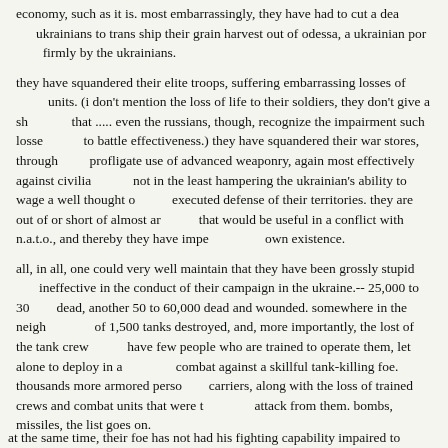economy, such as it is.   most embarrassingly, they have had to cut a deal with the ukrainians to trans ship their grain harvest out of odessa, a ukrainian port held firmly by the ukrainians.
they have squandered their elite troops, suffering embarrassing losses of those units.  (i don't mention the loss of life to their soldiers, they don't give a sh.. about that  .....  even the russians, though, recognize the impairment such losses bring to battle effectiveness.)    they have squandered their war stores, through their profligate use of advanced weaponry, again most effectively against civilians, and not in the least hampering the ukrainian's ability to wage a well thought out and executed defense of their territories.   they are out of or short of almost anything that would be useful in a conflict with n.a.t.o., and thereby they have imperiled their own existence.
all, in all, one could very well maintain that they have been grossly stupid and ineffective in the conduct of their campaign in the ukraine.--  25,000 to 30,000 dead, another 50 to 60,000 dead and wounded.   somewhere in the neighborhood of 1,500 tanks destroyed, and, more importantly, the lost of the tank crews, they have few people who are trained to operate them, let alone to deploy in a complex combat against a skillful tank-killing foe.   thousands more armored personnel carriers, along with the loss of trained crews and combat units that were trained to attack from them.   bombs, missiles, the list goes on.
and, as an added little detail, they are just about out of the computer chips that controls that run the whole mess.
at the same time, their foe has not had his fighting capability impaired to the...